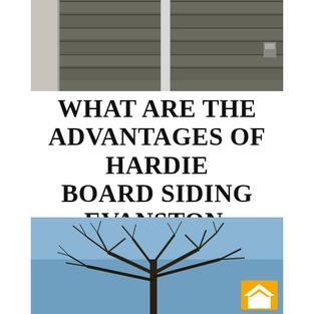[Figure (photo): Close-up photo of dark gray Hardie board lap siding on a building exterior with white stone trim and a downspout visible]
WHAT ARE THE ADVANTAGES OF HARDIE BOARD SIDING EVANSTON, IL
[Figure (photo): Photo of a bare winter tree with branches against a clear blue sky, with a house icon logo overlay in the bottom right corner]